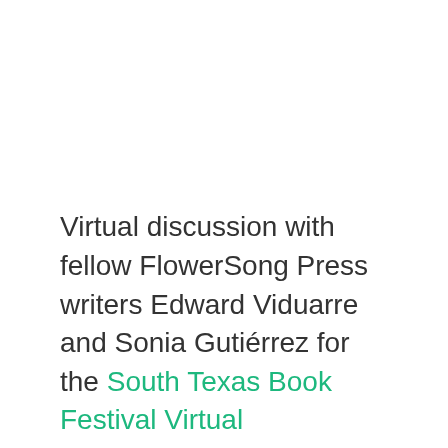Virtual discussion with fellow FlowerSong Press writers Edward Viduarre and Sonia Gutiérrez for the South Texas Book Festival Virtual...